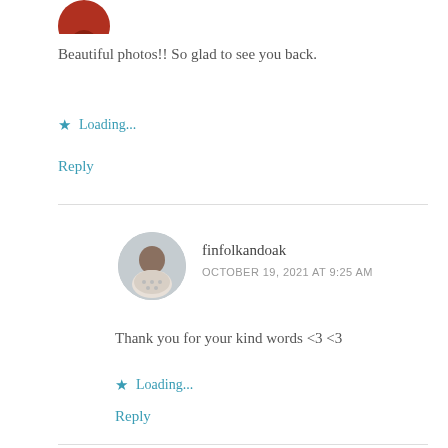[Figure (photo): Circular avatar image, partially visible at top, showing a red/dark circular shape]
Beautiful photos!! So glad to see you back.
★ Loading...
Reply
[Figure (photo): Circular avatar photo of a person wearing a knitted sweater]
finfolkandoak
OCTOBER 19, 2021 AT 9:25 AM
Thank you for your kind words <3 <3
★ Loading...
Reply